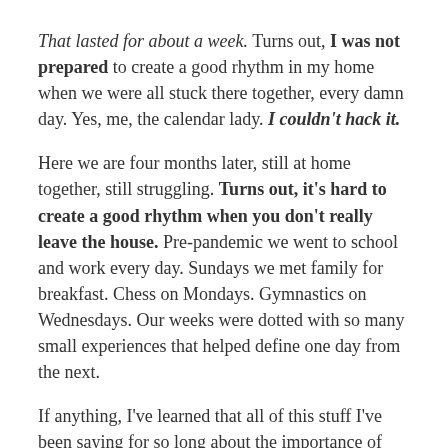That lasted for about a week. Turns out, I was not prepared to create a good rhythm in my home when we were all stuck there together, every damn day. Yes, me, the calendar lady. I couldn't hack it.
Here we are four months later, still at home together, still struggling. Turns out, it's hard to create a good rhythm when you don't really leave the house. Pre-pandemic we went to school and work every day. Sundays we met family for breakfast. Chess on Mondays. Gymnastics on Wednesdays. Our weeks were dotted with so many small experiences that helped define one day from the next.
If anything, I've learned that all of this stuff I've been saying for so long about the importance of rhythm and routine--well, I didn't know how right I was! ;) It remains true that rhythm, ritual, and routine give children (and apparently their parents) a deep sense of security. We thrive with rhythm, it guides us gently from one sunrise to the next. And when we're out of